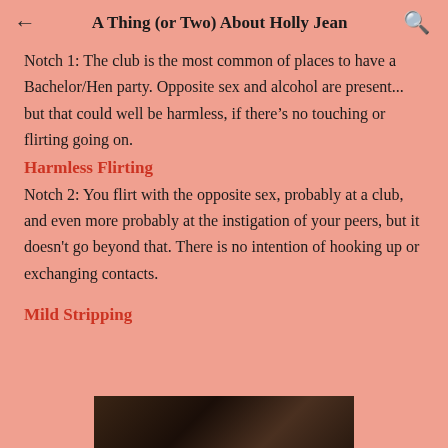← A Thing (or Two) About Holly Jean 🔍
Notch 1: The club is the most common of places to have a Bachelor/Hen party. Opposite sex and alcohol are present... but that could well be harmless, if there's no touching or flirting going on.
Harmless Flirting
Notch 2: You flirt with the opposite sex, probably at a club, and even more probably at the instigation of your peers, but it doesn't go beyond that. There is no intention of hooking up or exchanging contacts.
Mild Stripping
[Figure (photo): Dark photograph, partially visible at the bottom of the page]